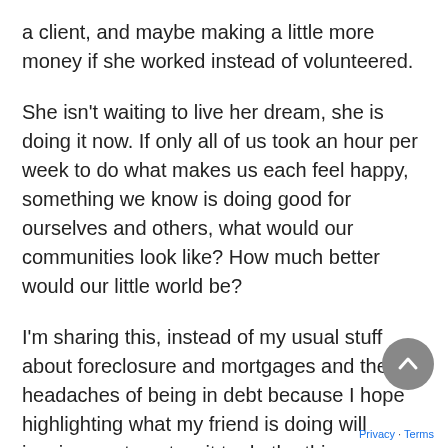a client, and maybe making a little more money if she worked instead of volunteered.
She isn't waiting to live her dream, she is doing it now. If only all of us took an hour per week to do what makes us each feel happy, something we know is doing good for ourselves and others, what would our communities look like? How much better would our little world be?
I'm sharing this, instead of my usual stuff about foreclosure and mortgages and the headaches of being in debt because I hope highlighting what my friend is doing will inspire you to not wait to do the things you want to do until ___ happens. Let me know what you think, let me know if you are already living your dream, or what you'd like to do instead of waiting for the right moment, the right